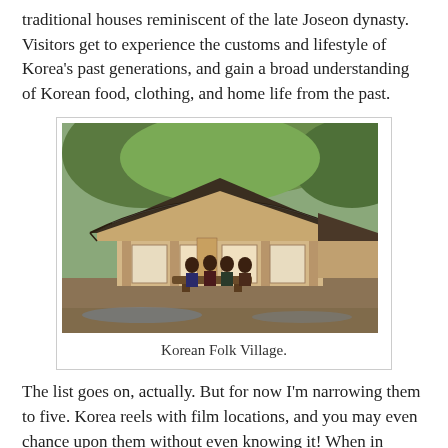traditional houses reminiscent of the late Joseon dynasty. Visitors get to experience the customs and lifestyle of Korea's past generations, and gain a broad understanding of Korean food, clothing, and home life from the past.
[Figure (photo): Photo of a traditional Korean hanok building at the Korean Folk Village, with people gathered around a low table under the wooden eave structure, surrounded by trees.]
Korean Folk Village.
The list goes on, actually. But for now I'm narrowing them to five. Korea reels with film locations, and you may even chance upon them without even knowing it! When in Korea, keep your eyes peeled for banners and tarpaulins with photos of your favorite stars. Who knows, the restaurant you might be dining in right now was actually a film location. :)